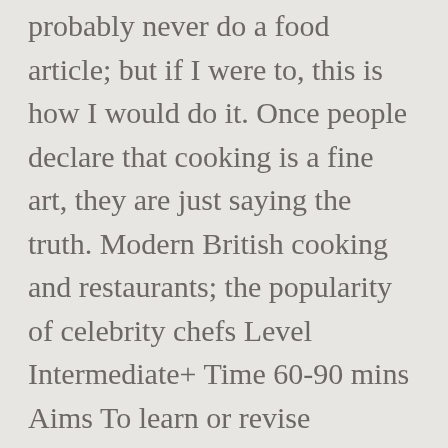probably never do a food article; but if I were to, this is how I would do it. Once people declare that cooking is a fine art, they are just saying the truth. Modern British cooking and restaurants; the popularity of celebrity chefs Level Intermediate+ Time 60-90 mins Aims To learn or revise vocabulary relating to food, restaurants, tastes and textures To develop reading and To develop Our content does not constitute a medical or psychological consultation. Make substitutions for healthier meals. Specialty Rices Wehani rice is a whole-grain, reddish-brown American hybrid of basmati and long-grain brown rice. French food leaves many cooks feeling that they have to live up to a certain unattainable elegance